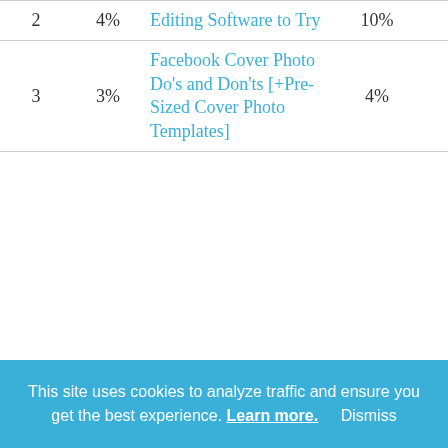| # | % | Title | % | ... |
| --- | --- | --- | --- | --- |
| 2 | 4% | Editing Software to Try | 10% | ... |
| 3 | 3% | Facebook Cover Photo Do's and Don'ts [+Pre-Sized Cover Photo Templates] | 4% | ... |
This site uses cookies to analyze traffic and ensure you get the best experience. Learn more. Dismiss